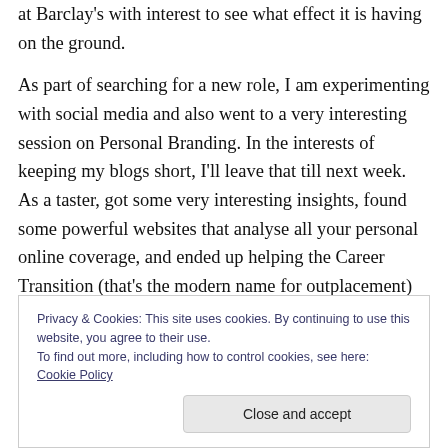at Barclay's with interest to see what effect it is having on the ground.
As part of searching for a new role, I am experimenting with social media and also went to a very interesting session on Personal Branding. In the interests of keeping my blogs short, I'll leave that till next week. As a taster, got some very interesting insights, found some powerful websites that analyse all your personal online coverage, and ended up helping the Career Transition (that's the modern name for outplacement) consultant set up her own
Privacy & Cookies: This site uses cookies. By continuing to use this website, you agree to their use.
To find out more, including how to control cookies, see here: Cookie Policy
Close and accept